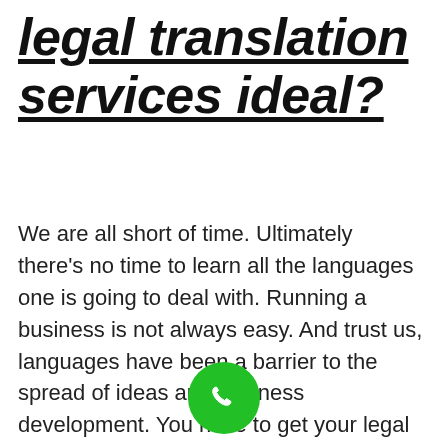legal translation services ideal?
We are all short of time. Ultimately there's no time to learn all the languages one is going to deal with. Running a business is not always easy. And trust us, languages have been a barrier to the spread of ideas and business development. You have to get your legal documents translated in a way that is exact in its meaning. You surely can't afford any contradictions while dealing with legal papers.
[Figure (illustration): Green circular phone/call button icon]